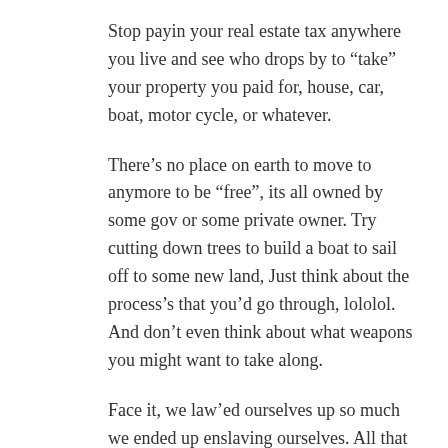Stop payin your real estate tax anywhere you live and see who drops by to “take” your property you paid for, house, car, boat, motor cycle, or whatever.
There’s no place on earth to move to anymore to be “free”, its all owned by some gov or some private owner. Try cutting down trees to build a boat to sail off to some new land, Just think about the process’s that you’d go through, lololol. And don’t even think about what weapons you might want to take along.
Face it, we law’ed ourselves up so much we ended up enslaving ourselves. All that can be done at this point in time is live out what life is left where ever you happen to be settled.
56.
Npgh on April 27, 2014 at 8:23 am
@ everyone…I need to post this for all of you. Please